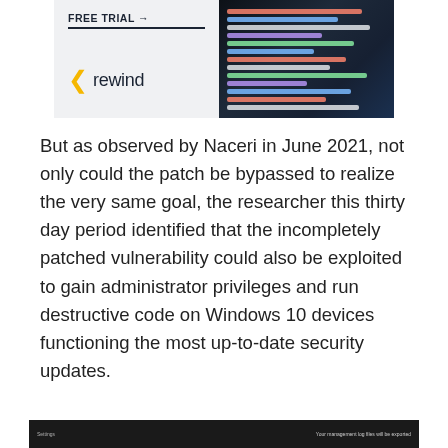[Figure (screenshot): Rewind app advertisement banner with 'FREE TRIAL →' text, the Rewind logo (yellow chevron + 'rewind' text), and a code editor screenshot on the right side]
But as observed by Naceri in June 2021, not only could the patch be bypassed to realize the very same goal, the researcher this thirty day period identified that the incompletely patched vulnerability could also be exploited to gain administrator privileges and run destructive code on Windows 10 devices functioning the most up-to-date security updates.
[Figure (screenshot): Bottom strip showing a dark Windows settings/log file screenshot]